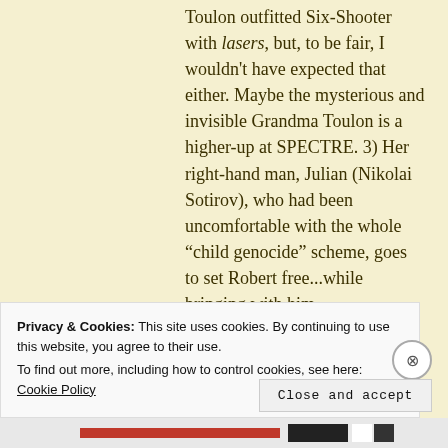Toulon outfitted Six-Shooter with lasers, but, to be fair, I wouldn't have expected that either. Maybe the mysterious and invisible Grandma Toulon is a higher-up at SPECTRE. 3) Her right-hand man, Julian (Nikolai Sotirov), who had been uncomfortable with the whole “child genocide” scheme, goes to set Robert free...while bringing with him
Privacy & Cookies: This site uses cookies. By continuing to use this website, you agree to their use.
To find out more, including how to control cookies, see here: Cookie Policy
Close and accept